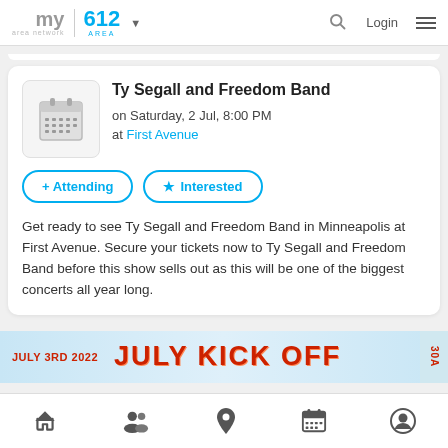my area network | 612 AREA
Ty Segall and Freedom Band
on Saturday, 2 Jul, 8:00 PM
at First Avenue
+ Attending
★ Interested
Get ready to see Ty Segall and Freedom Band in Minneapolis at First Avenue. Secure your tickets now to Ty Segall and Freedom Band before this show sells out as this will be one of the biggest concerts all year long.
[Figure (infographic): Ad banner: JULY 3RD 2022 | JULY KICK OFF]
Home | Groups | Location | Calendar | Profile